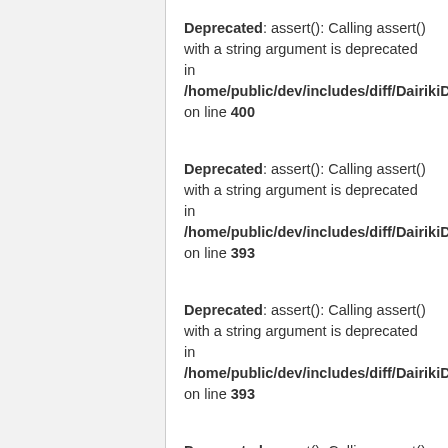Deprecated: assert(): Calling assert() with a string argument is deprecated in /home/public/dev/includes/diff/DairikiDiff.php on line 400
Deprecated: assert(): Calling assert() with a string argument is deprecated in /home/public/dev/includes/diff/DairikiDiff.php on line 393
Deprecated: assert(): Calling assert() with a string argument is deprecated in /home/public/dev/includes/diff/DairikiDiff.php on line 393
Deprecated: assert(): Calling assert() with a string argument is deprecated in /home/public/dev/includes/diff/DairikiDiff.php on line 400
Deprecated: assert(): Calling assert() with a string argument is deprecated in /home/public/dev/includes/diff/DairikiDiff.php